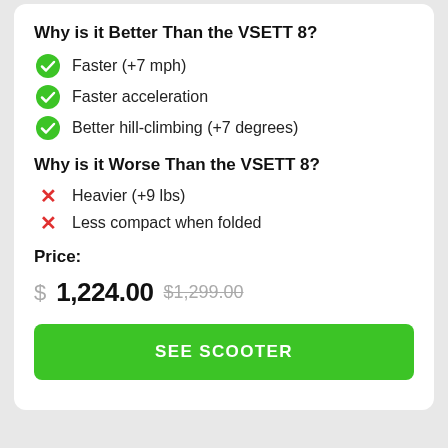Why is it Better Than the VSETT 8?
Faster (+7 mph)
Faster acceleration
Better hill-climbing (+7 degrees)
Why is it Worse Than the VSETT 8?
Heavier (+9 lbs)
Less compact when folded
Price:
$ 1,224.00 $1,299.00
SEE SCOOTER